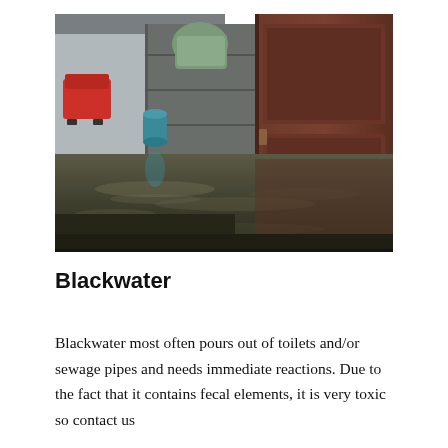[Figure (photo): Flood scene showing dark murky water covering the floor of what appears to be a commercial or residential space, with a large dark wooden door on the right, a teal/blue container visible on the left, shelving or walls in the background, and daylight visible through an opening to the left where a red vehicle can be partially seen.]
Blackwater
Blackwater most often pours out of toilets and/or sewage pipes and needs immediate reactions. Due to the fact that it contains fecal elements, it is very toxic so contact us